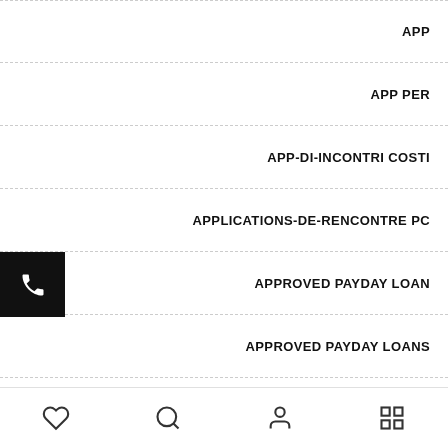APP
APP PER
APP-DI-INCONTRI COSTI
APPLICATIONS-DE-RENCONTRE PC
APPROVED PAYDAY LOAN
APPROVED PAYDAY LOANS
ARABLOUNGE APPLI RENCONTRE
ARABLOUNGE LOC
♡  🔍  👤  🏪